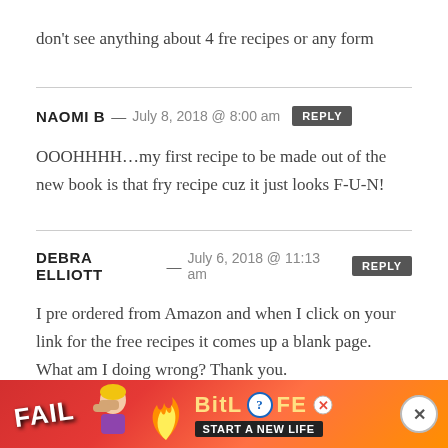I have ordered the cookbook and clicked the link but don't see anything about 4 fre recipes or any form
NAOMI B — July 8, 2018 @ 8:00 am [REPLY]
OOOHHHH...my first recipe to be made out of the new book is that fry recipe cuz it just looks F-U-N!
DEBRA ELLIOTT — July 6, 2018 @ 11:13 am [REPLY]
I pre ordered from Amazon and when I click on your link for the free recipes it comes up a blank page.  What am I doing wrong?  Thank you.
[Figure (screenshot): Advertisement banner for BitLife game with FAIL text, animated character, flames, and START A NEW LIFE tagline]